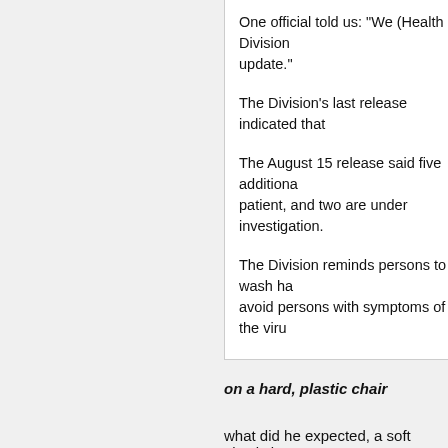One official told us: "We (Health Division) update."
The Division's last release indicated that
The August 15 release said five additional patient, and two are under investigation.
The Division reminds persons to wash ha avoid persons with symptoms of the viru
Also, citizens are reminded to sanitize su
If you fall ill, the Division advises that yo
on a hard, plastic chair
what did he expected, a soft plastic love